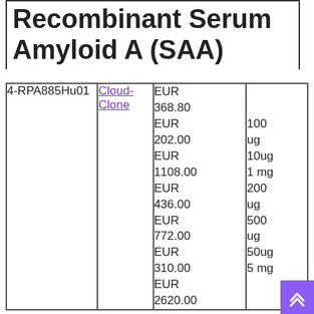Recombinant Serum Amyloid A (SAA)
| ID | Vendor | Price | Quantity |
| --- | --- | --- | --- |
| 4-RPA885Hu01 | Cloud-Clone | EUR 368.80
EUR 202.00
EUR 1108.00
EUR 436.00
EUR 772.00
EUR 310.00
EUR 2620.00 | 100 ug
10ug
1 mg
200 ug
500 ug
50ug
5 mg |